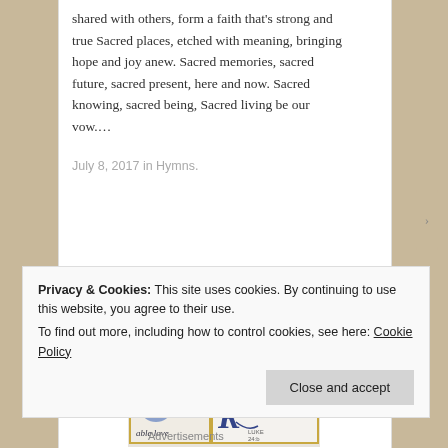shared with others, form a faith that's strong and true Sacred places, etched with meaning, bringing hope and joy anew. Sacred memories, sacred future, sacred present, here and now. Sacred knowing, sacred being, Sacred living be our vow.…
July 8, 2017 in Hymns.
[Figure (photo): Cross-stitch or embroidered artwork showing text 'able love' and 'Risen Lord' with LUKE 24:b reference, featuring decorative heart and dove imagery with gold border]
Privacy & Cookies: This site uses cookies. By continuing to use this website, you agree to their use.
To find out more, including how to control cookies, see here: Cookie Policy
Close and accept
Advertisements